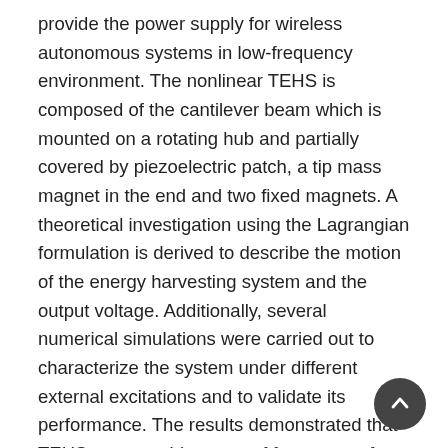provide the power supply for wireless autonomous systems in low-frequency environment. The nonlinear TEHS is composed of the cantilever beam which is mounted on a rotating hub and partially covered by piezoelectric patch, a tip mass magnet in the end and two fixed magnets. A theoretical investigation using the Lagrangian formulation is derived to describe the motion of the energy harvesting system and the output voltage. Additionally, several numerical simulations were carried out to characterize the system under different external excitations and to validate its performance. The results demonstrated that TEHS owns a wide range of frequency of snap-through and high output voltage compared with the bi-stable energy harvesting system (BEHS). Moreover, some sets of experimental validations will be performed in the future work because the experimental setup is in the configuration now.